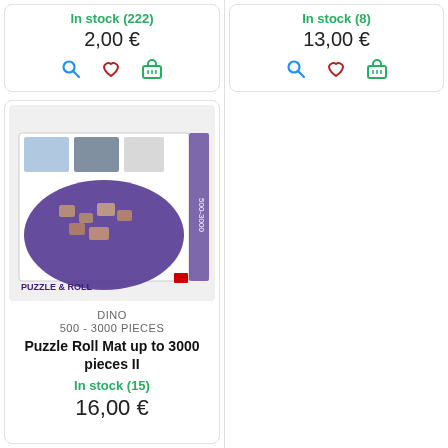In stock (222)
2,00 €
In stock (8)
13,00 €
[Figure (photo): Product box image of Dino Puzzle Roll Mat up to 3000 pieces II]
DINO
500 - 3000 PIECES
Puzzle Roll Mat up to 3000 pieces II
In stock (15)
16,00 €